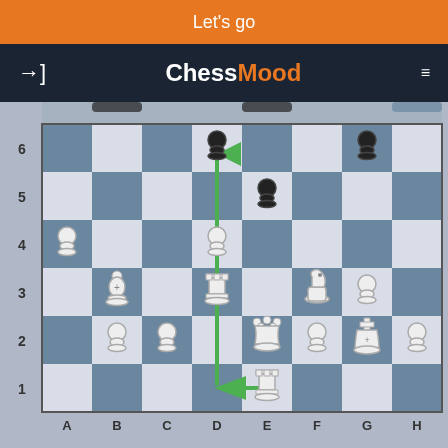Let's go
[Figure (screenshot): ChessMood website navigation bar with login icon, ChessMood logo in white and orange, and hamburger menu]
[Figure (other): Chess board showing a position with white rook on e1 moving to d1 then d3 (green arrows), with various pieces: black pawns on d6, e5, g6; white pawns on a4, d4, b2, e2, g2, h2; white bishop on b3; white rook on d3; white knight on f3; white queen on e2; white king on g2; white pawn on g2; board labeled A-H on bottom and 1-6 on left side]